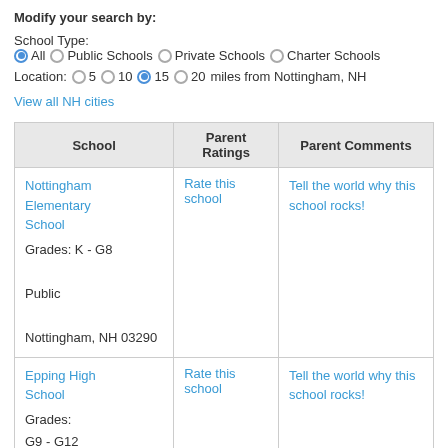Modify your search by:
School Type: All  Public Schools  Private Schools  Charter Schools
Location: 5  10  15  20 miles from Nottingham, NH
View all NH cities
| School | Parent Ratings | Parent Comments |
| --- | --- | --- |
| Nottingham Elementary School
Grades: K - G8
Public
Nottingham, NH 03290 | Rate this school | Tell the world why this school rocks! |
| Epping High School
Grades:
G9 - G12 | Rate this school | Tell the world why this school rocks! |